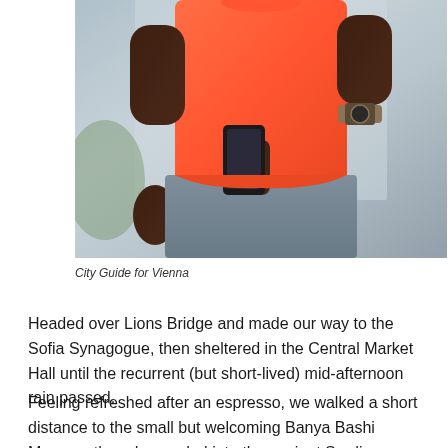[Figure (photo): A man wearing a bright orange/coral t-shirt and grey pants, holding a smartphone, wearing a watch, photographed from chest down against a light background.]
City Guide for Vienna
Headed over Lions Bridge and made our way to the Sofia Synagogue, then sheltered in the Central Market Hall until the recurrent (but short-lived) mid-afternoon rain passed.
Feeling refreshed after an espresso, we walked a short distance to the small but welcoming Banya Bashi Mosque, then descended into the ancient Serdica complex